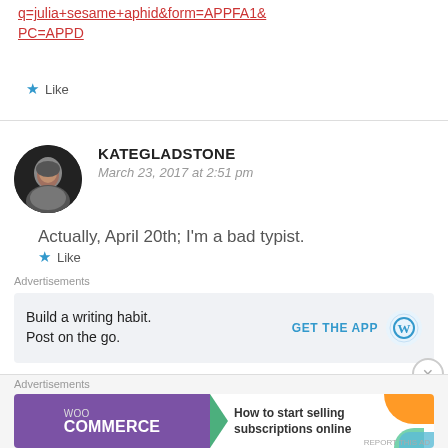q=julia+sesame+aphid&form=APPFA1&PC=APPD
★ Like
KATEGLADSTONE
March 23, 2017 at 2:51 pm
Actually, April 20th; I'm a bad typist.
★ Like
Advertisements
Build a writing habit. Post on the go.
GET THE APP
Advertisements
How to start selling subscriptions online
REPORT THIS AD